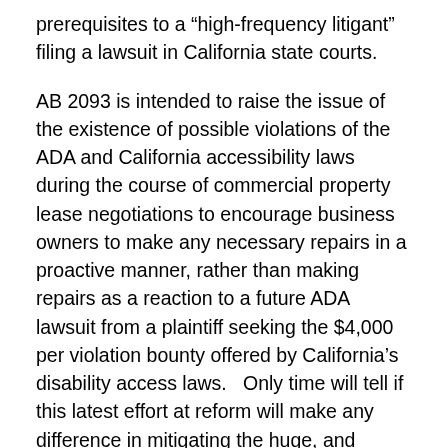prerequisites to a “high-frequency litigant” filing a lawsuit in California state courts.
AB 2093 is intended to raise the issue of the existence of possible violations of the ADA and California accessibility laws during the course of commercial property lease negotiations to encourage business owners to make any necessary repairs in a proactive manner, rather than making repairs as a reaction to a future ADA lawsuit from a plaintiff seeking the $4,000 per violation bounty offered by California's disability access laws.  Only time will tell if this latest effort at reform will make any difference in mitigating the huge, and growing number of disability access lawsuits in California (and across the country).  For those of you closely following state government attempts to intervene